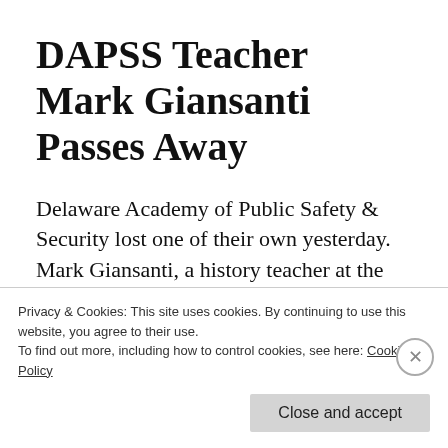DAPSS Teacher Mark Giansanti Passes Away
Delaware Academy of Public Safety & Security lost one of their own yesterday. Mark Giansanti, a history teacher at the New Castle charter school, passed away. The school released the following post
Privacy & Cookies: This site uses cookies. By continuing to use this website, you agree to their use.
To find out more, including how to control cookies, see here: Cookie Policy